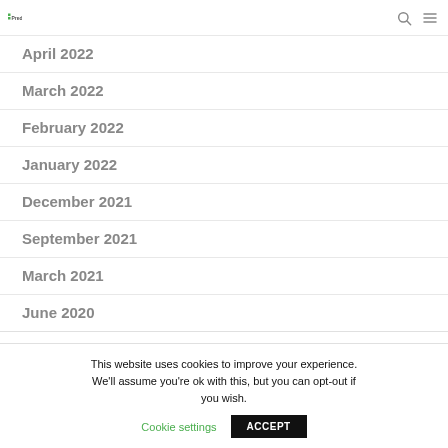Predci logo, search icon, menu icon
April 2022
March 2022
February 2022
January 2022
December 2021
September 2021
March 2021
June 2020
This website uses cookies to improve your experience. We'll assume you're ok with this, but you can opt-out if you wish. Cookie settings ACCEPT